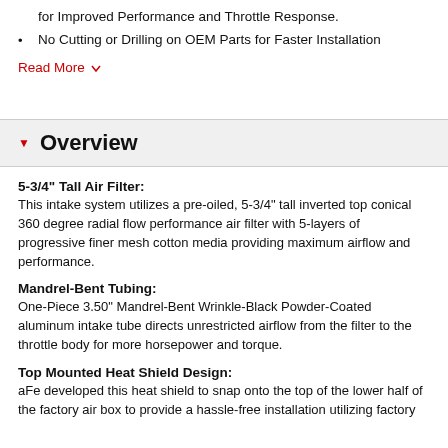for Improved Performance and Throttle Response.
No Cutting or Drilling on OEM Parts for Faster Installation
Read More
Overview
5-3/4" Tall Air Filter:
This intake system utilizes a pre-oiled, 5-3/4" tall inverted top conical 360 degree radial flow performance air filter with 5-layers of progressive finer mesh cotton media providing maximum airflow and performance.
Mandrel-Bent Tubing:
One-Piece 3.50" Mandrel-Bent Wrinkle-Black Powder-Coated aluminum intake tube directs unrestricted airflow from the filter to the throttle body for more horsepower and torque.
Top Mounted Heat Shield Design:
aFe developed this heat shield to snap onto the top of the lower half of the factory air box to provide a hassle-free installation utilizing factory